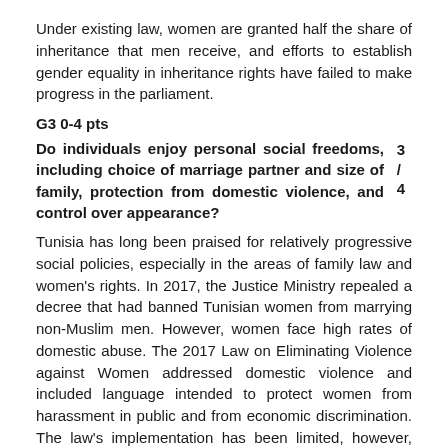Under existing law, women are granted half the share of inheritance that men receive, and efforts to establish gender equality in inheritance rights have failed to make progress in the parliament.
G3 0-4 pts
Do individuals enjoy personal social freedoms, including choice of marriage partner and size of family, protection from domestic violence, and control over appearance? 3 / 4
Tunisia has long been praised for relatively progressive social policies, especially in the areas of family law and women's rights. In 2017, the Justice Ministry repealed a decree that had banned Tunisian women from marrying non-Muslim men. However, women face high rates of domestic abuse. The 2017 Law on Eliminating Violence against Women addressed domestic violence and included language intended to protect women from harassment in public and from economic discrimination. The law's implementation has been limited, however, tamer of serious domestic ally